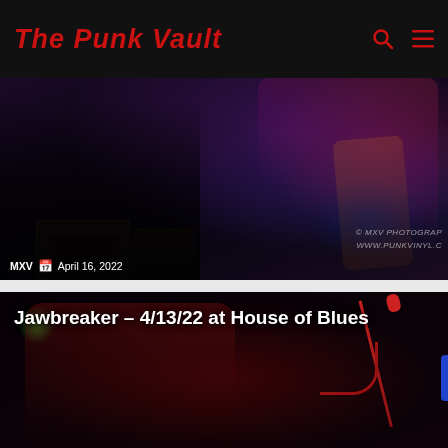The Punk Vault
[Figure (photo): Concert photo showing a guitarist on stage with Marshall amp and purple/blue stage lighting. Watermark reads © MXV PHOTOGRAPHY and WWW.PUNKVINYL.C...]
MXV   April 16, 2022
[Figure (photo): Concert photo of Jawbreaker performer singing into a microphone with red stage lighting and green spot.]
Jawbreaker – 4/13/22 at House of Blues